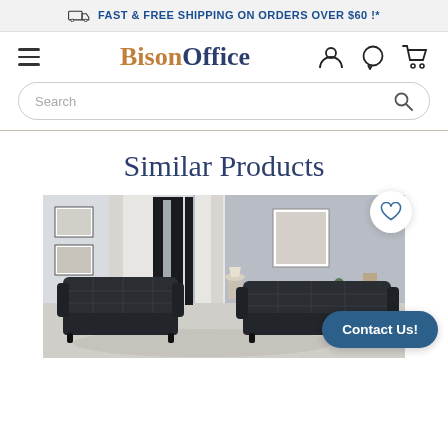FAST & FREE SHIPPING ON ORDERS OVER $60 !*
[Figure (logo): BisonOffice logo with hamburger menu and navigation icons (user, chat, cart)]
[Figure (screenshot): Search bar with placeholder text 'Search' and magnifying glass icon]
Similar Products
[Figure (photo): Dark navy/charcoal tufted leather sofa and loveseat set in a modern living room with gray walls, large window, curtains, and framed art on the wall. Wishlist heart button in top right.]
Contact Us!